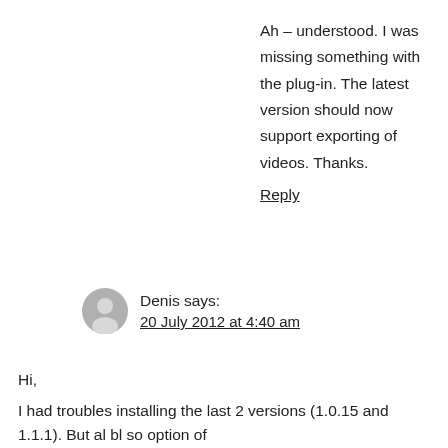Ah – understood. I was missing something with the plug-in. The latest version should now support exporting of videos. Thanks.
Reply
Denis says:
20 July 2012 at 4:40 am
Hi,
I had troubles installing the last 2 versions (1.0.15 and 1.1.1). But al bl so option of